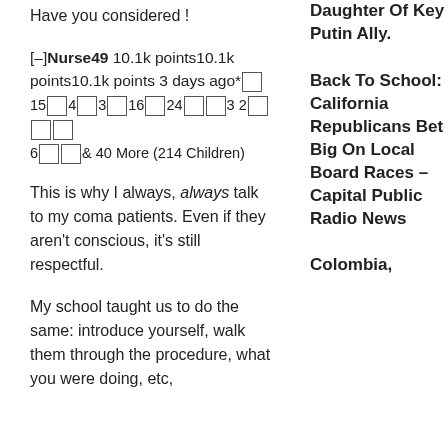Have you considered !
[–]Nurse49 10.1k points10.1k points10.1k points 3 days ago* [emoji boxes] 15 [box] 4 [box] 3 [box] 16 [box] 24 [box] [box] 3 2 [box] [box] [box] 6 [box] [box] & 40 More (214 Children)
This is why I always, always talk to my coma patients. Even if they aren't conscious, it's still respectful.
My school taught us to do the same: introduce yourself, walk them through the procedure, what you were doing, etc,
Daughter Of Key Putin Ally.
Back To School: California Republicans Bet Big On Local Board Races – Capital Public Radio News
Colombia,